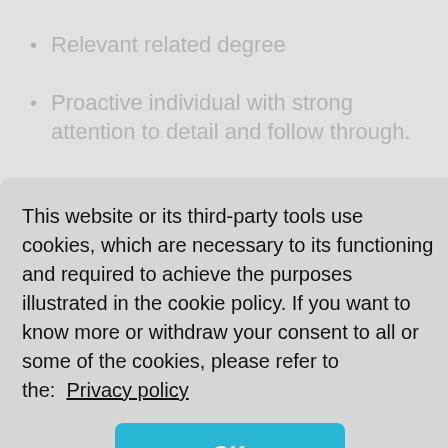Relevant related degree
Proactive individual with strong attention to detail and follow through.
Excellent listening and interpersonal skills
This website or its third-party tools use cookies, which are necessary to its functioning and required to achieve the purposes illustrated in the cookie policy. If you want to know more or withdraw your consent to all or some of the cookies, please refer to the:  Privacy policy
OK